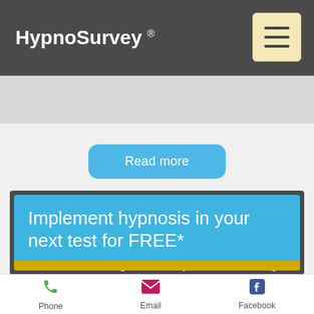HypnoSurvey ®
Read more
Implement hypnosis in your next test for FREE*
*With the same budget, increase your consumer insight
Your email address
Phone  Email  Facebook